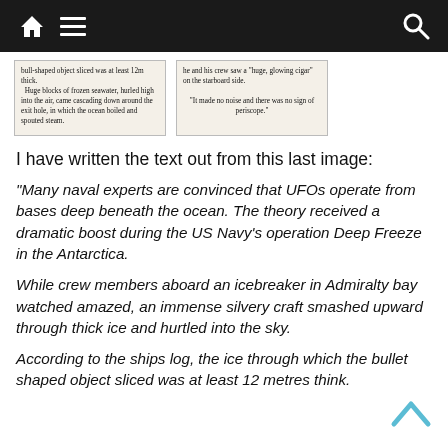[navigation bar with home, menu, and search icons]
[Figure (screenshot): Two side-by-side image boxes containing text excerpts. Left box: 'bull-shaped object sliced was at least 12m thick. Huge blocks of frozen seawater, hurled high into the air, came cascading down around the exit hole, in which the ocean boiled and spouted steam.' Right box: 'he and his crew saw a "huge, glowing cigar" on the starboard side. "It made no noise and there was no sign of periscope."']
I have written the text out from this last image:
“Many naval experts are convinced that UFOs operate from bases deep beneath the ocean. The theory received a dramatic boost during the US Navy’s operation Deep Freeze in the Antarctica.
While crew members aboard an icebreaker in Admiralty bay watched amazed, an immense silvery craft smashed upward through thick ice and hurtled into the sky.
According to the ships log, the ice through which the bullet shaped object sliced was at least 12 metres think.